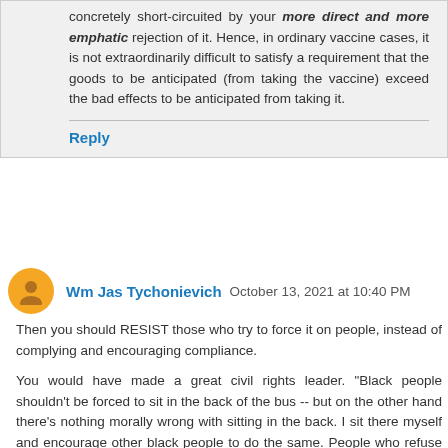concretely short-circuited by your more direct and more emphatic rejection of it. Hence, in ordinary vaccine cases, it is not extraordinarily difficult to satisfy a requirement that the goods to be anticipated (from taking the vaccine) exceed the bad effects to be anticipated from taking it.
Reply
Wm Jas Tychonievich  October 13, 2021 at 10:40 PM
Then you should RESIST those who try to force it on people, instead of complying and encouraging compliance.
You would have made a great civil rights leader. "Black people shouldn't be forced to sit in the back of the bus -- but on the other hand there's nothing morally wrong with sitting in the back. I sit there myself and encourage other black people to do the same. People who refuse to do so and treat it like a moral issue are dangerous hotheads."
Reply